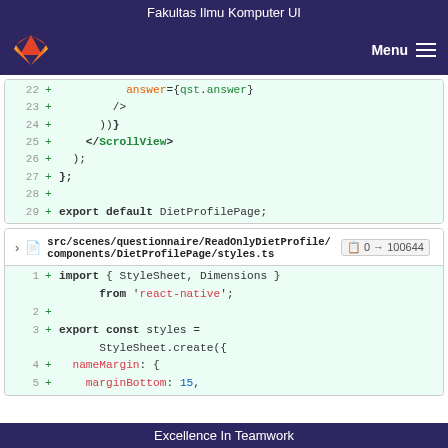Fakultas Ilmu Komputer UI
[Figure (screenshot): GitLab navigation bar with logo and Menu button]
[Figure (screenshot): Code diff showing lines 22-29 of a React Native file with ScrollView closing tags and export default DietProfilePage]
[Figure (screenshot): File header: src/scenes/questionnaire/ReadOnlyDietProfile/components/DietProfilePage/styles.ts 0 → 100644]
[Figure (screenshot): Code diff showing lines 1-5 of styles.ts with import StyleSheet Dimensions from react-native and export const styles StyleSheet.create nameMargin marginBottom 15]
Excellence In Teamwork